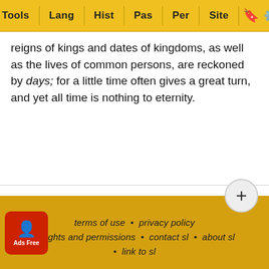Tools | Lang | Hist | Pas | Per | Site
reigns of kings and dates of kingdoms, as well as the lives of common persons, are reckoned by days; for a little time often gives a great turn, and yet all time is nothing to eternity.
terms of use • privacy policy • rights and permissions • contact sl • about sl • link to sl
port dead links, typos, or html errors or suggestions about making these resources more useful use the convenient contact